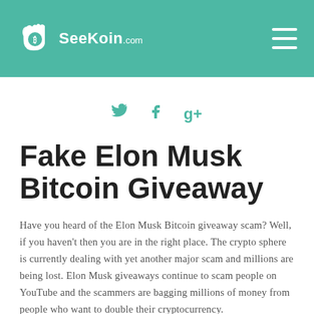[Figure (logo): SeeKoin.com website header with teal background, logo (hand/bitcoin icon with text 'SeeKoin .com') on the left, and a hamburger menu icon on the right]
[Figure (infographic): Three social media icons: Twitter bird, Facebook f, and Google+ g+, displayed in teal color]
Fake Elon Musk Bitcoin Giveaway
Have you heard of the Elon Musk Bitcoin giveaway scam? Well, if you haven't then you are in the right place. The crypto sphere is currently dealing with yet another major scam and millions are being lost. Elon Musk giveaways continue to scam people on YouTube and the scammers are bagging millions of money from people who want to double their cryptocurrency.